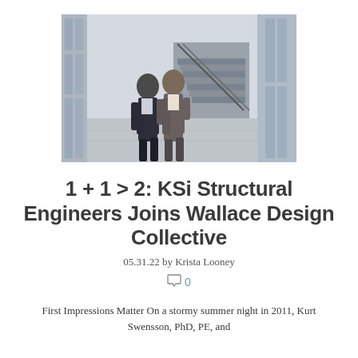[Figure (photo): Two men in business casual attire walking together in a modern building lobby with glass walls, an industrial staircase, and polished concrete floors.]
1 + 1 > 2: KSi Structural Engineers Joins Wallace Design Collective
05.31.22 by Krista Looney
0
First Impressions Matter On a stormy summer night in 2011, Kurt Swensson, PhD, PE, and